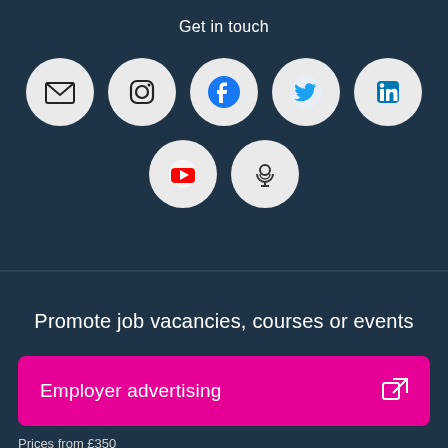Get in touch
[Figure (infographic): Seven social media/contact icons in circles: email/envelope, Instagram, Facebook, Twitter, LinkedIn, YouTube, Podcast]
Promote job vacancies, courses or events
Employer advertising
Prices from £350